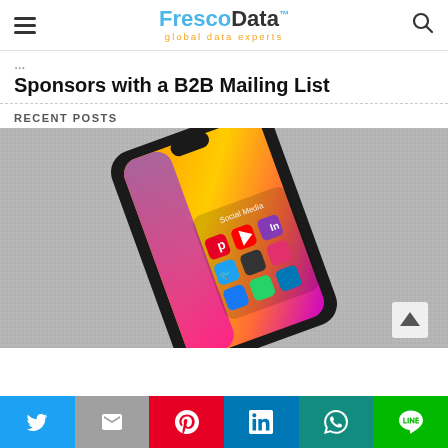FrescoData™ global data experts
Sponsors with a B2B Mailing List
RECENT POSTS
[Figure (photo): Smartphone displaying social media app icons on its screen, placed on a grey fabric surface. A white upward-pointing triangle (scroll-to-top button) is visible in the lower right of the image.]
Social share buttons: Twitter, Email, Pinterest, LinkedIn, WhatsApp, LINE